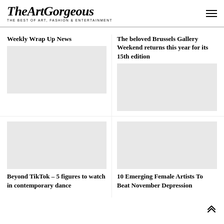TheArtGorgeous — THE BEST OF ART, FASHION & ENTERTAINMENT
Weekly Wrap Up News
The beloved Brussels Gallery Weekend returns this year for its 15th edition
Beyond TikTok – 5 figures to watch in contemporary dance
10 Emerging Female Artists To Beat November Depression